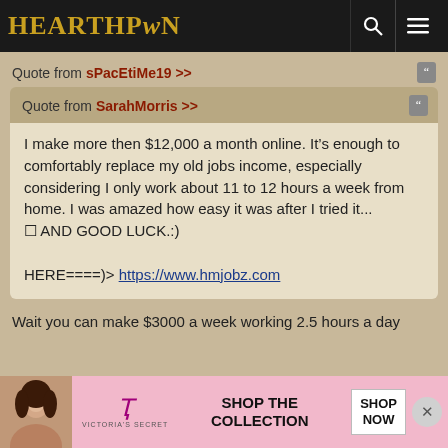HEARTHPWN
Quote from sPacEtiMe19 >>
Quote from SarahMorris >>
I make more then $12,000 a month online. It’s enough to comfortably replace my old jobs income, especially considering I only work about 11 to 12 hours a week from home. I was amazed how easy it was after I tried it...
  AND GOOD LUCK.:)

HERE====)> https://www.hmjobz.com
Wait you can make $3000 a week working 2.5 hours a day
[Figure (other): Victoria's Secret advertisement banner with model photo, VS logo, 'SHOP THE COLLECTION' text, and 'SHOP NOW' button]